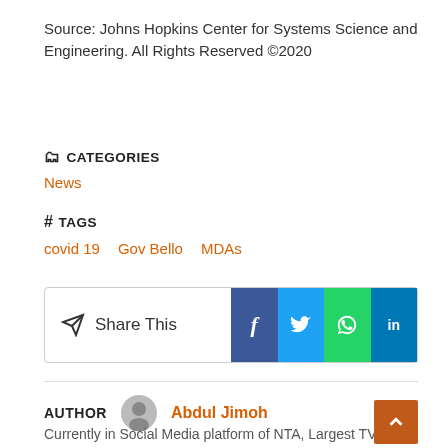Source: Johns Hopkins Center for Systems Science and Engineering. All Rights Reserved ©2020
🗂 CATEGORIES
News
# TAGS
covid 19   Gov Bello   MDAs
[Figure (infographic): Share This social media buttons: Facebook, Twitter, WhatsApp, LinkedIn]
AUTHOR   Abdul Jimoh
Currently in Social Media platform of NTA, Largest TV in Africa. Iam a graduate of Mass Communication with special